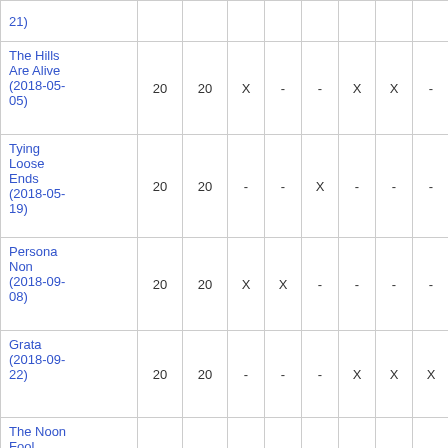| Title | Col1 | Col2 | Col3 | Col4 | Col5 | Col6 | Col7 | Col8 |
| --- | --- | --- | --- | --- | --- | --- | --- | --- |
| 21) |  |  |  |  |  |  |  |  |
| The Hills Are Alive (2018-05-05) | 20 | 20 | X | - | - | X | X | - |
| Tying Loose Ends (2018-05-19) | 20 | 20 | - | - | X | - | - | - |
| Persona Non (2018-09-08) | 20 | 20 | X | X | - | - | - | - |
| Grata (2018-09-22) | 20 | 20 | - | - | - | X | X | X |
| The Noon Fool (2018-10-06) | 18 | 22 | - | X | X | - | - | X |
| Vice Mayor |  |  |  |  |  |  |  |  |